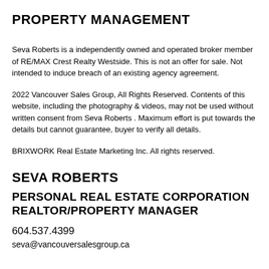PROPERTY MANAGEMENT
Seva Roberts is a independently owned and operated broker member of RE/MAX Crest Realty Westside. This is not an offer for sale. Not intended to induce breach of an existing agency agreement.
2022 Vancouver Sales Group, All Rights Reserved. Contents of this website, including the photography & videos, may not be used without written consent from Seva Roberts . Maximum effort is put towards the details but cannot guarantee, buyer to verify all details.
BRIXWORK Real Estate Marketing Inc. All rights reserved.
SEVA ROBERTS
PERSONAL REAL ESTATE CORPORATION REALTOR/PROPERTY MANAGER
604.537.4399
seva@vancouversalesgroup.ca